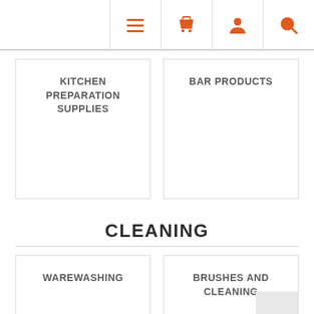Navigation icons: menu, basket, user, search
KITCHEN PREPARATION SUPPLIES
BAR PRODUCTS
CLEANING
WAREWASHING
BRUSHES AND CLEANING